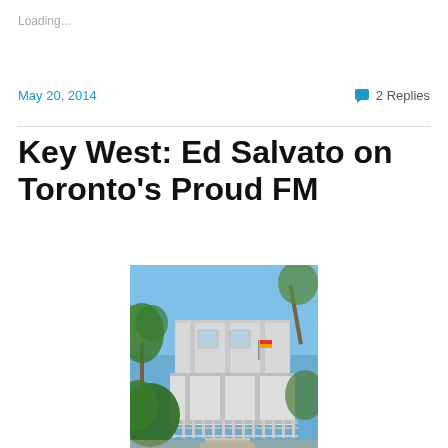Loading...
May 20, 2014
2 Replies
Key West: Ed Salvato on Toronto’s Proud FM
[Figure (photo): Two-story white tropical house with balcony and palm trees under blue sky, Key West style architecture]